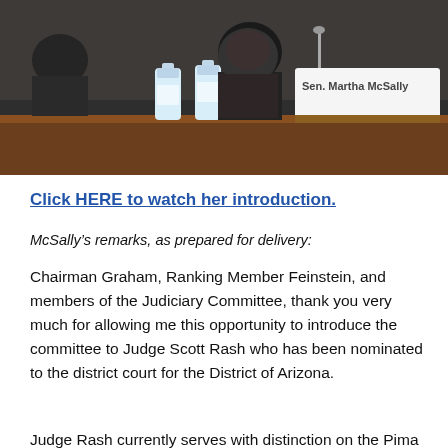[Figure (photo): A photo of Sen. Martha McSally seated at a Senate hearing table with a name placard reading 'Sen. Martha McSally', two water bottles visible, and people seated behind her.]
Click HERE to watch her introduction.
McSally’s remarks, as prepared for delivery:
Chairman Graham, Ranking Member Feinstein, and members of the Judiciary Committee, thank you very much for allowing me this opportunity to introduce the committee to Judge Scott Rash who has been nominated to the district court for the District of Arizona.
Judge Rash currently serves with distinction on the Pima County Superior Court in my hometown of